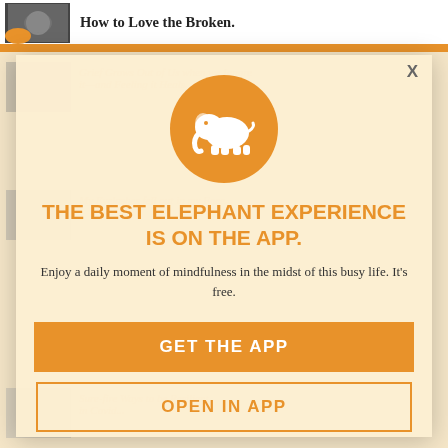How to Love the Broken.
[Figure (logo): Elephant Journal app promotion modal with elephant logo on orange circle]
THE BEST ELEPHANT EXPERIENCE IS ON THE APP.
Enjoy a daily moment of mindfulness in the midst of this busy life. It's free.
GET THE APP
OPEN IN APP